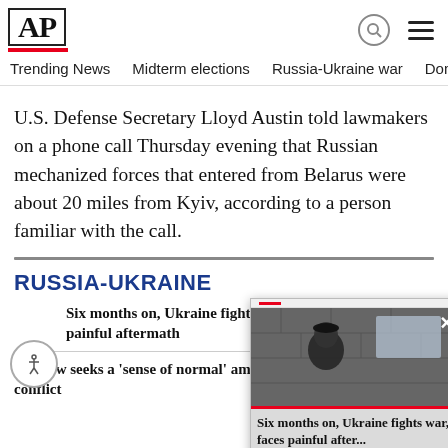AP
Trending News
Midterm elections
Russia-Ukraine war
Dona
U.S. Defense Secretary Lloyd Austin told lawmakers on a phone call Thursday evening that Russian mechanized forces that entered from Belarus were about 20 miles from Kyiv, according to a person familiar with the call.
RUSSIA-UKRAINE
Six months on, Ukraine fights faces painful aftermath
On eve day, fe
Moscow seeks a 'sense of normal' amid Ukraine conflict
AP PH told in
[Figure (screenshot): Video popup showing a soldier standing in front of a stone wall with a window. Caption reads: Six months on, Ukraine fights war, faces painful after...]